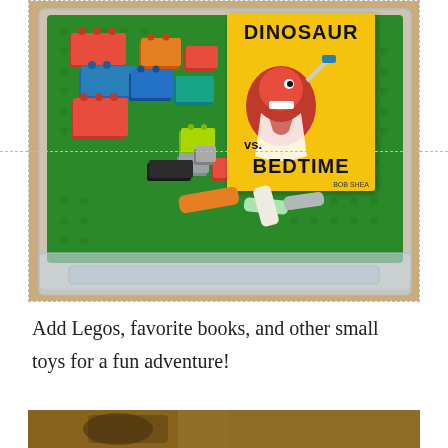[Figure (photo): A clear plastic storage container with a green LEGO base plate inside, holding colorful LEGO bricks in red, blue, orange, yellow, green, gray, teal, and black. A yellow children's book titled 'Dinosaur vs. Bedtime' by Bob Shea sits on the plate. Several pieces of chalk in orange, white, light green, and gray are also visible on the plate. The container sits on a sandy/concrete surface.]
Add Legos, favorite books, and other small toys for a fun adventure!
[Figure (photo): Partial view of a photo at the bottom of the page, showing what appears to be a person or scene with warm brown tones, cropped.]